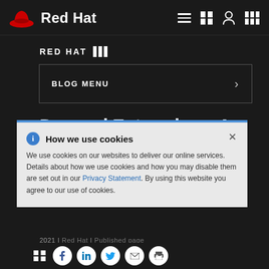Red Hat
RED HAT [blog icon]
BLOG MENU >
Dawoud Enterprises: A case study in digital tra[nsformation]
How we use cookies
We use cookies on our websites to deliver our online services. Details about how we use cookies and how you may disable them are set out in our Privacy Statement. By using this website you agree to our use of cookies.
2021 | Red Hat | Published page